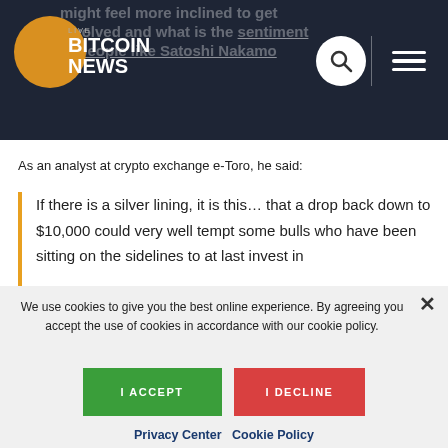LIVE BITCOIN NEWS
As an analyst at crypto exchange e-Toro, he said:
If there is a silver lining, it is this… that a drop back down to $10,000 could very well tempt some bulls who have been sitting on the sidelines to at last invest in
We use cookies to give you the best online experience. By agreeing you accept the use of cookies in accordance with our cookie policy.
I ACCEPT
I DECLINE
Privacy Center   Cookie Policy